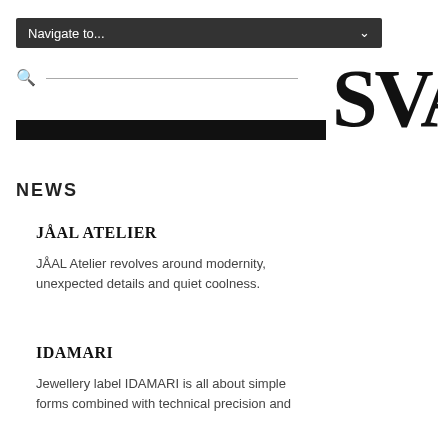Navigate to...
[Figure (logo): SVA logo in large serif bold font, black letters]
NEWS
JÅAL ATELIER
JÅAL Atelier revolves around modernity, unexpected details and quiet coolness.
IDAMARI
Jewellery label IDAMARI is all about simple forms combined with technical precision and